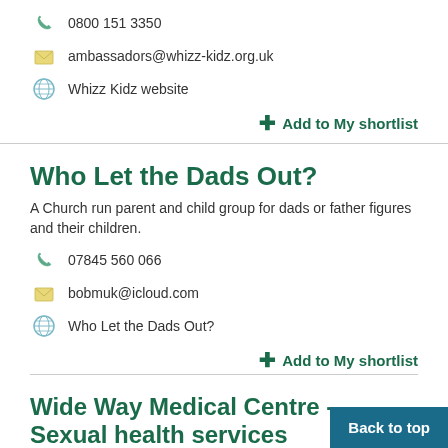0800 151 3350
ambassadors@whizz-kidz.org.uk
Whizz Kidz website
Add to My shortlist
Who Let the Dads Out?
A Church run parent and child group for dads or father figures and their children.
07845 560 066
bobmuk@icloud.com
Who Let the Dads Out?
Add to My shortlist
Wide Way Medical Centre - Sexual health services
Sexual Health South West London offers routine sexual health and contraception service led by our nursing team a...
Back to top